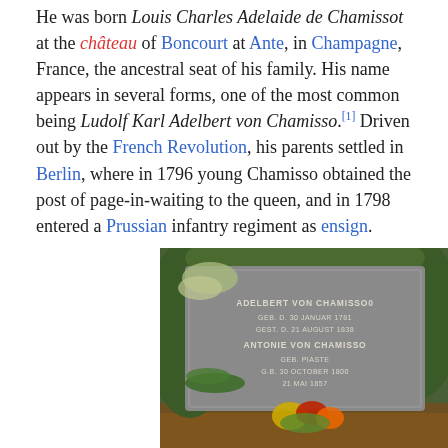He was born Louis Charles Adelaide de Chamissot at the château of Boncourt at Ante, in Champagne, France, the ancestral seat of his family. His name appears in several forms, one of the most common being Ludolf Karl Adelbert von Chamisso.[1] Driven out by the French Revolution, his parents settled in Berlin, where in 1796 young Chamisso obtained the post of page-in-waiting to the queen, and in 1798 entered a Prussian infantry regiment as ensign.
[Figure (photo): Grave stone of Adelbert von Chamisso and Antonie von Chamisso. The stone reads: ADELBERT VON CHAMISSO, GEB. D. 30 JANUAR 1781, GEST. D. 21 AUGUST 1838, ANTONIE VON CHAMISSO, GEB. PIASTE, G.B. 30 OCTOBER 1800, 21 MAI 1857. Surrounded by green foliage and flowers.]